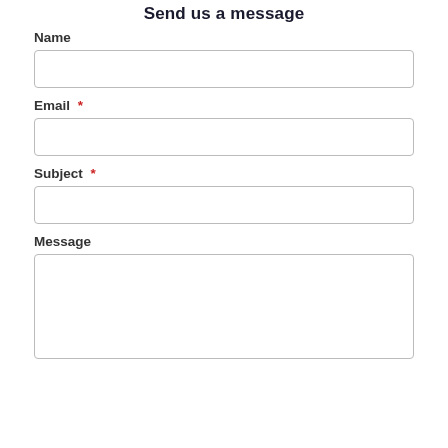Send us a message
Name
Email *
Subject *
Message